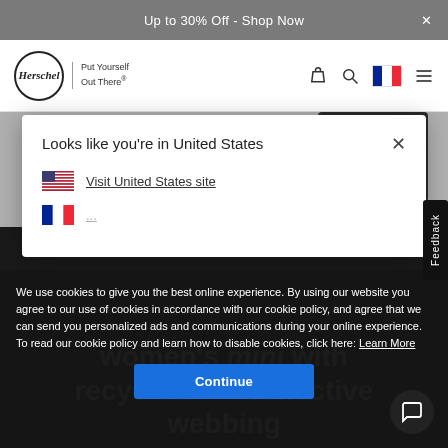Up to 30% Off - Shop Now
[Figure (logo): Herschel Supply Co. logo with oval border and tagline 'Put Yourself Out There']
Looks like you're in United States
Visit United States site
We use cookies to give you the best online experience. By using our website you agree to our use of cookies in accordance with our cookie policy, and agree that we can send you personalized ads and communications during your online experience. To read our cookie policy and learn how to disable cookies, click here: Learn More
Continue